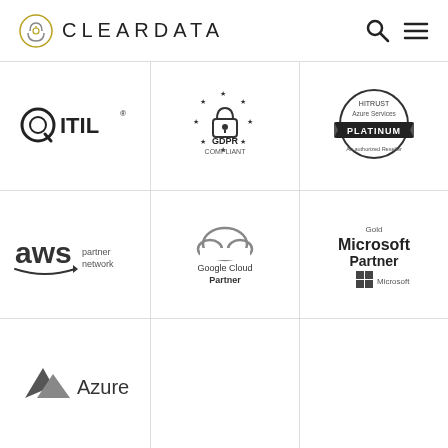CLEARDATA
[Figure (logo): ITIL logo - circular Q-like icon with ITIL text]
[Figure (logo): GDPR Compliant badge with lock icon and stars]
[Figure (logo): HITRUST Azure Services Platinum badge]
[Figure (logo): AWS Partner Network logo]
[Figure (logo): Google Cloud Partner logo]
[Figure (logo): Gold Microsoft Partner logo]
[Figure (logo): Microsoft Azure logo with triangle mountain icon]